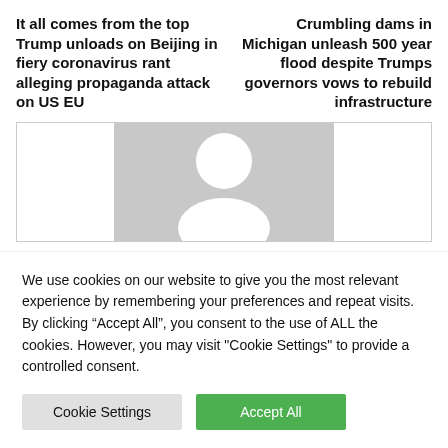It all comes from the top Trump unloads on Beijing in fiery coronavirus rant alleging propaganda attack on US EU
Crumbling dams in Michigan unleash 500 year flood despite Trumps governors vows to rebuild infrastructure
[Figure (illustration): A gray placeholder avatar image showing a person silhouette inside a bordered box]
We use cookies on our website to give you the most relevant experience by remembering your preferences and repeat visits. By clicking “Accept All”, you consent to the use of ALL the cookies. However, you may visit "Cookie Settings" to provide a controlled consent.
Cookie Settings | Accept All